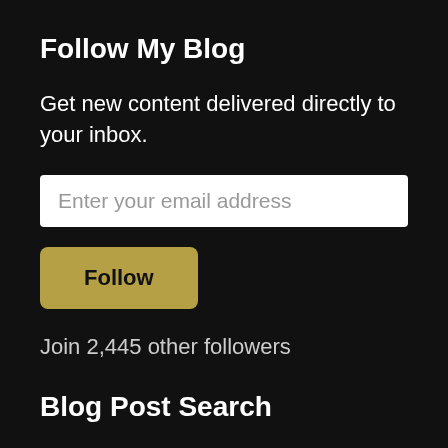Follow My Blog
Get new content delivered directly to your inbox.
Enter your email address
Follow
Join 2,445 other followers
Blog Post Search